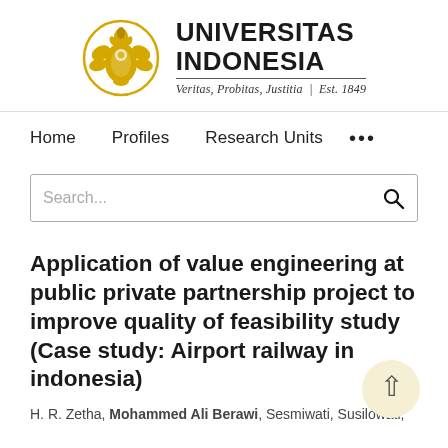[Figure (logo): Universitas Indonesia logo with golden emblem and text 'UNIVERSITAS INDONESIA', tagline 'Veritas, Probitas, Justitia | Est. 1849']
Home   Profiles   Research Units   ...
Search...
Application of value engineering at public private partnership project to improve quality of feasibility study (Case study: Airport railway in indonesia)
H. R. Zetha, Mohammed Ali Berawi, Sesmiwati, Susilowati,